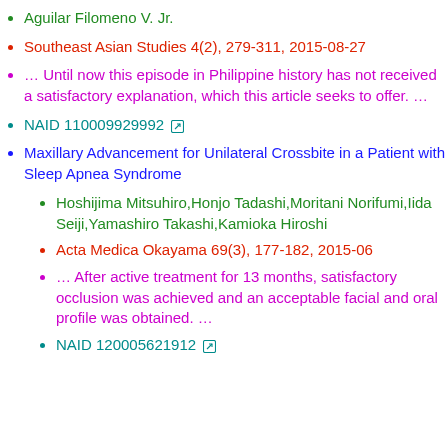Aguilar Filomeno V. Jr.
Southeast Asian Studies 4(2), 279-311, 2015-08-27
… Until now this episode in Philippine history has not received a satisfactory explanation, which this article seeks to offer. …
NAID 110009929992 [external link]
Maxillary Advancement for Unilateral Crossbite in a Patient with Sleep Apnea Syndrome
Hoshijima Mitsuhiro,Honjo Tadashi,Moritani Norifumi,Iida Seiji,Yamashiro Takashi,Kamioka Hiroshi
Acta Medica Okayama 69(3), 177-182, 2015-06
… After active treatment for 13 months, satisfactory occlusion was achieved and an acceptable facial and oral profile was obtained. …
NAID 120005621912 [external link]